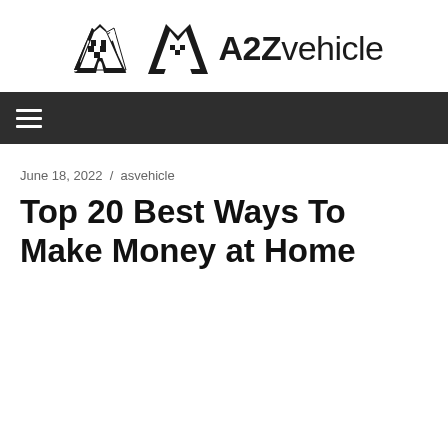A2Zvehicle
June 18, 2022 / asvehicle
Top 20 Best Ways To Make Money at Home